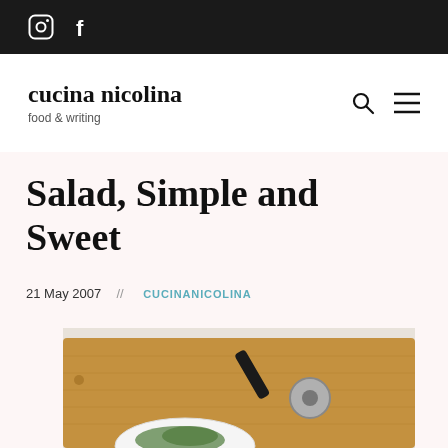Instagram  Facebook
cucina nicolina
food & writing
Salad, Simple and Sweet
21 May 2007  //  CUCINANICOLINA
[Figure (photo): Photo of a wooden cutting board with a black pizza cutter/wheel and a white bowl with salad greens, viewed from above on a light background]